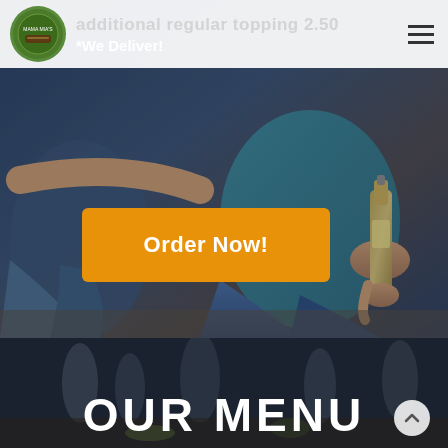additional regular topping 2.50
*We Deliver!
[Figure (photo): Two people sitting casually, one holding a glass bottle/beer, in warm indoor setting. Background is blurred.]
Order Now!
[Figure (photo): Blurred restaurant/bar interior with glasses and table setting visible.]
OUR MENU